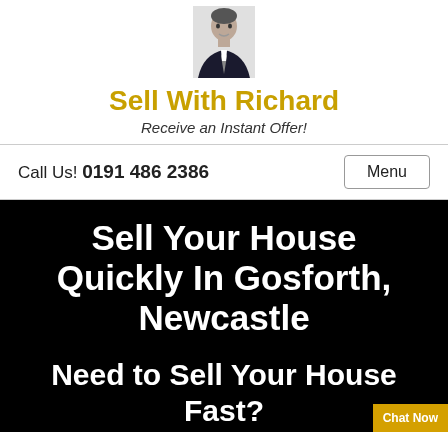[Figure (photo): Headshot of a man in a dark suit and tie]
Sell With Richard
Receive an Instant Offer!
Call Us! 0191 486 2386
Menu
Sell Your House Quickly In Gosforth, Newcastle
Need to Sell Your House Fast?
Chat Now